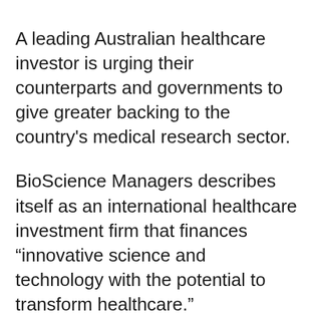A leading Australian healthcare investor is urging their counterparts and governments to give greater backing to the country's medical research sector.
BioScience Managers describes itself as an international healthcare investment firm that finances “innovative science and technology with the potential to transform healthcare.”
“Through the pandemic we have seen Australian biotech and digital health companies step up and work with government and community partners to accelerate innovations and ensure we can supply key health services across Australia.”